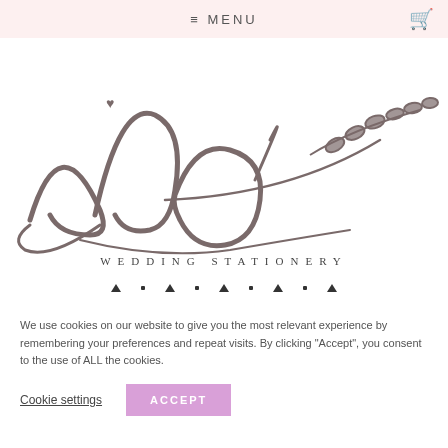≡ MENU
[Figure (logo): I do Wedding Stationery cursive logo with heart over 'i' and decorative leaf branch]
WEDDING STATIONERY
We use cookies on our website to give you the most relevant experience by remembering your preferences and repeat visits. By clicking "Accept", you consent to the use of ALL the cookies.
Cookie settings   ACCEPT